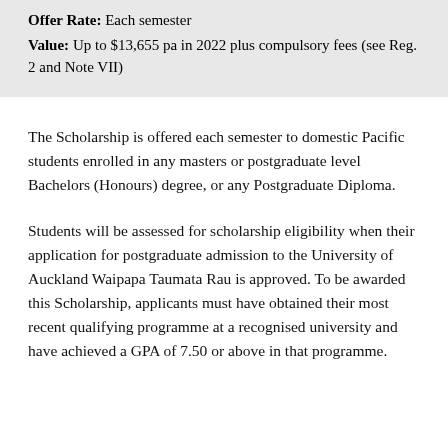Offer Rate: Each semester
Value: Up to $13,655 pa in 2022 plus compulsory fees (see Reg. 2 and Note VII)
The Scholarship is offered each semester to domestic Pacific students enrolled in any masters or postgraduate level Bachelors (Honours) degree, or any Postgraduate Diploma.
Students will be assessed for scholarship eligibility when their application for postgraduate admission to the University of Auckland Waipapa Taumata Rau is approved. To be awarded this Scholarship, applicants must have obtained their most recent qualifying programme at a recognised university and have achieved a GPA of 7.50 or above in that programme.